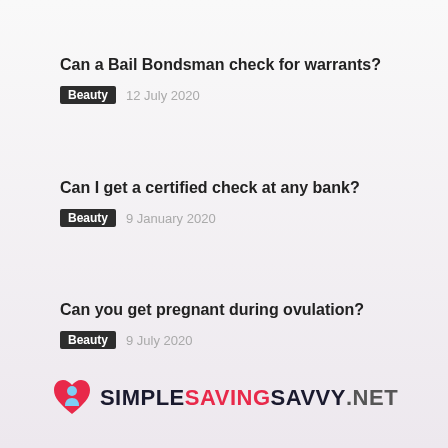Can a Bail Bondsman check for warrants?
Beauty  12 July 2020
Can I get a certified check at any bank?
Beauty  9 January 2020
Can you get pregnant during ovulation?
Beauty  9 July 2020
SIMPLESAVINGSAVVY.NET